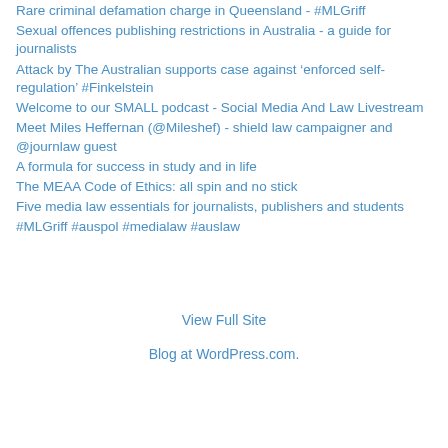Rare criminal defamation charge in Queensland - #MLGriff
Sexual offences publishing restrictions in Australia - a guide for journalists
Attack by The Australian supports case against ‘enforced self-regulation’ #Finkelstein
Welcome to our SMALL podcast - Social Media And Law Livestream
Meet Miles Heffernan (@Mileshef) - shield law campaigner and @journlaw guest
A formula for success in study and in life
The MEAA Code of Ethics: all spin and no stick
Five media law essentials for journalists, publishers and students
#MLGriff #auspol #medialaw #auslaw
View Full Site
Blog at WordPress.com.